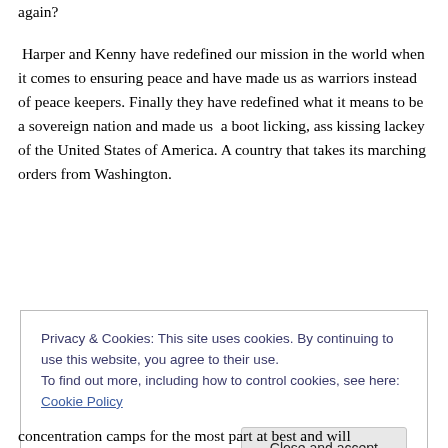again?
Harper and Kenny have redefined our mission in the world when it comes to ensuring peace and have made us as warriors instead of peace keepers. Finally they have redefined what it means to be a sovereign nation and made us a boot licking, ass kissing lackey of the United States of America. A country that takes its marching orders from Washington.
Privacy & Cookies: This site uses cookies. By continuing to use this website, you agree to their use.
To find out more, including how to control cookies, see here: Cookie Policy
Close and accept
concentration camps for the most part at best and will